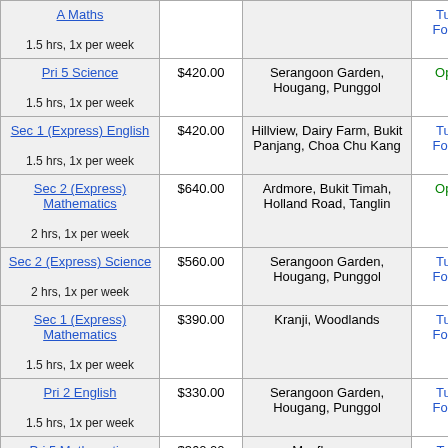| Subject | Rate | Location | Status |
| --- | --- | --- | --- |
| A Maths
1.5 hrs, 1x per week |  |  | Tutor Found |
| Pri 5 Science
1.5 hrs, 1x per week | $420.00 | Serangoon Garden, Hougang, Punggol | Open |
| Sec 1 (Express) English
1.5 hrs, 1x per week | $420.00 | Hillview, Dairy Farm, Bukit Panjang, Choa Chu Kang | Tutor Found |
| Sec 2 (Express) Mathematics
2 hrs, 1x per week | $640.00 | Ardmore, Bukit Timah, Holland Road, Tanglin | Open |
| Sec 2 (Express) Science
2 hrs, 1x per week | $560.00 | Serangoon Garden, Hougang, Punggol | Tutor Found |
| Sec 1 (Express) Mathematics
1.5 hrs, 1x per week | $390.00 | Kranji, Woodlands | Tutor Found |
| Pri 2 English
1.5 hrs, 1x per week | $330.00 | Serangoon Garden, Hougang, Punggol | Tutor Found |
| Pri 5 Mathematics | $360.00 | Mayflower... | Tut... |